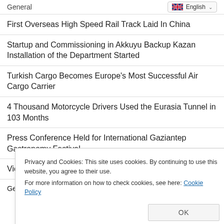General
English
First Overseas High Speed Rail Track Laid In China
Startup and Commissioning in Akkuyu Backup Kazan Installation of the Department Started
Turkish Cargo Becomes Europe's Most Successful Air Cargo Carrier
4 Thousand Motorcycle Drivers Used the Eurasia Tunnel in 103 Months
Press Conference Held for International Gaziantep Gastronomy Festival
Victory Parade Group Advancing to Izmir
Privacy and Cookies: This site uses cookies. By continuing to use this website, you agree to their use.
For more information on how to check cookies, see here: Cookie Policy
OK
General Directorate of Mining and Petroleum Affairs to Recruit